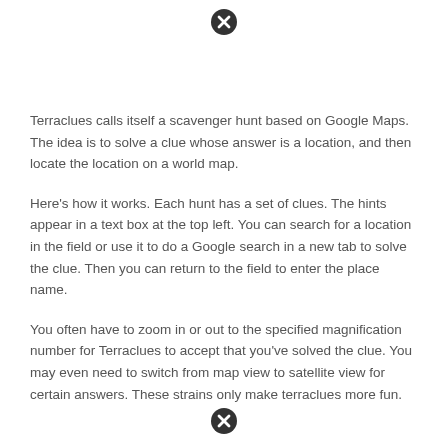[Figure (illustration): Close icon (circled X) at top center of page]
Terraclues calls itself a scavenger hunt based on Google Maps. The idea is to solve a clue whose answer is a location, and then locate the location on a world map.
Here's how it works. Each hunt has a set of clues. The hints appear in a text box at the top left. You can search for a location in the field or use it to do a Google search in a new tab to solve the clue. Then you can return to the field to enter the place name.
You often have to zoom in or out to the specified magnification number for Terraclues to accept that you've solved the clue. You may even need to switch from map view to satellite view for certain answers. These strains only make terraclues more fun.
[Figure (illustration): Close icon (circled X) at bottom center of page]